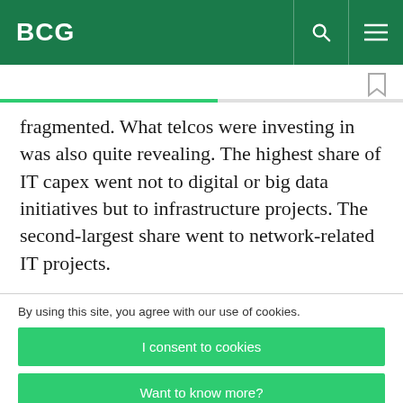BCG
fragmented. What telcos were investing in was also quite revealing. The highest share of IT capex went not to digital or big data initiatives but to infrastructure projects. The second-largest share went to network-related IT projects.
By using this site, you agree with our use of cookies.
I consent to cookies
Want to know more?
Read our Cookie Policy